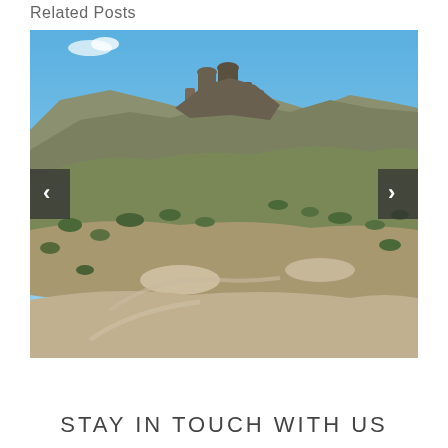Related Posts
[Figure (photo): Landscape photo of a rocky hillside with sparse vegetation (scrub brush) under a blue sky. Large rock formations visible at the summit. Navigation arrows on left and right sides of the image.]
STAY IN TOUCH WITH US